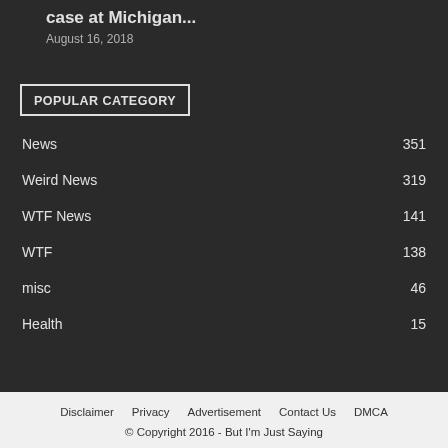case at Michigan...
August 16, 2018
POPULAR CATEGORY
News 351
Weird News 319
WTF News 141
WTF 138
misc 46
Health 15
Disclaimer | Privacy | Advertisement | Contact Us | DMCA
© Copyright 2016 - But I'm Just Saying